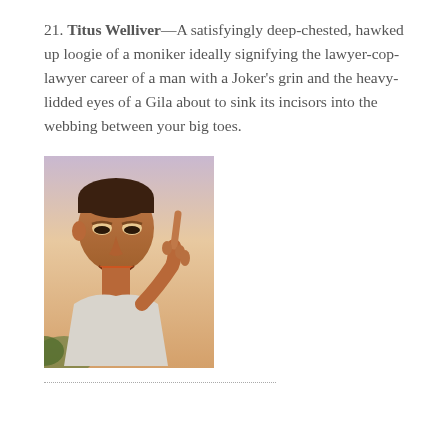21. Titus Welliver—A satisfyingly deep-chested, hawked up loogie of a moniker ideally signifying the lawyer-cop-lawyer career of a man with a Joker's grin and the heavy-lidded eyes of a Gila about to sink its incisors into the webbing between your big toes.
[Figure (photo): A man with a Joker-like grin raising one finger, photographed outdoors with a warm sunset/purple-sky background, wearing a white shirt.]